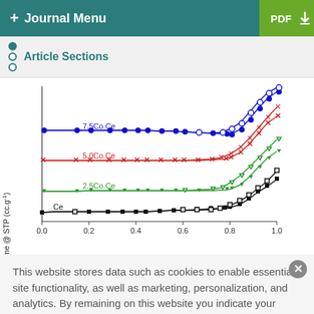+ Journal Menu | PDF ↓
Article Sections
[Figure (continuous-plot): N2 adsorption-desorption isotherms for Ce, 2.5Co.Ce, 5.0Co.Ce, and 7.5Co.Ce samples. Y-axis: Volume @ STP (cc.g-1), X-axis: P/P0 from 0.0 to 1.0. Four curves shown: black (Ce), green (2.5Co.Ce), red (5.0Co.Ce), blue (7.5Co.Ce). Each curve shows two branches (adsorption/desorption) with hysteresis at high P/P0.]
This website stores data such as cookies to enable essential site functionality, as well as marketing, personalization, and analytics. By remaining on this website you indicate your consent. Cookie Policy